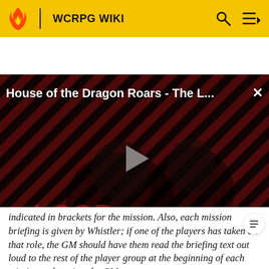WCRPG WIKI
[Figure (screenshot): Video player showing 'House of the Dragon Roars - The L...' with a play button in the center, THE LOOP watermark, diagonal red and dark stripe background, and NaN:NaN timestamp badge in bottom right corner.]
indicated in brackets for the mission. Also, each mission briefing is given by Whistler; if one of the players has taken on that role, the GM should have them read the briefing text out loud to the rest of the player group at the beginning of each mission; otherwise, the GM must